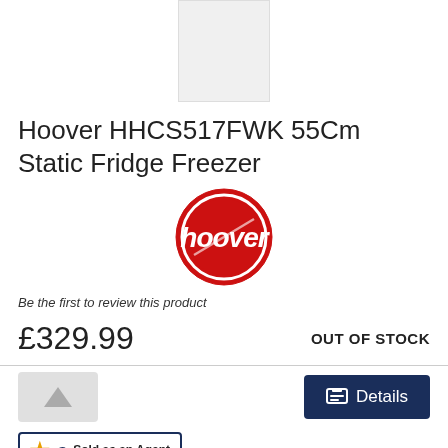[Figure (photo): White tall fridge freezer product image on white background]
Hoover HHCS517FWK 55Cm Static Fridge Freezer
[Figure (logo): Hoover circular red logo with white Hoover text]
Be the first to review this product
£329.99
OUT OF STOCK
Details
Sold as an Agent